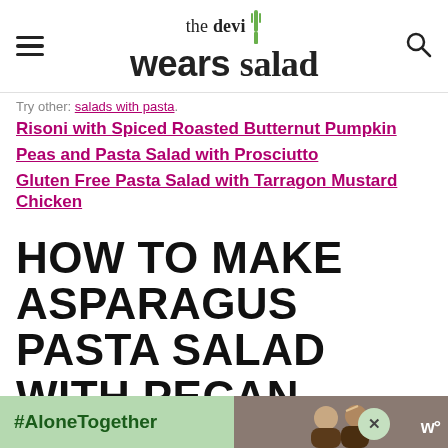the devi wears salad
Try other: salads with pasta.
Risoni with Spiced Roasted Butternut Pumpkin
Peas and Pasta Salad with Prosciutto
Gluten Free Pasta Salad with Tarragon Mustard Chicken
HOW TO MAKE ASPARAGUS PASTA SALAD WITH PECAN PESTO
[Figure (photo): Advertisement banner with #AloneTogether text and photo of people, with close button and logo]